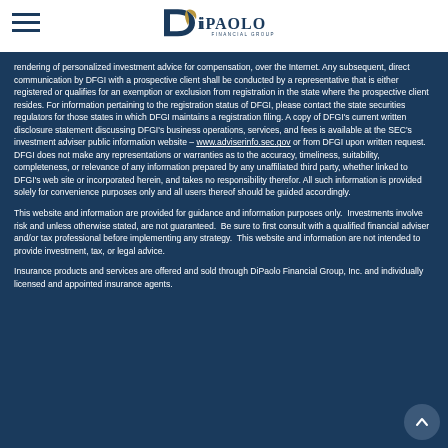[Figure (logo): DiPaolo Financial Group logo with stylized D and leaf icon]
rendering of personalized investment advice for compensation, over the Internet. Any subsequent, direct communication by DFGI with a prospective client shall be conducted by a representative that is either registered or qualifies for an exemption or exclusion from registration in the state where the prospective client resides. For information pertaining to the registration status of DFGI, please contact the state securities regulators for those states in which DFGI maintains a registration filing. A copy of DFGI's current written disclosure statement discussing DFGI's business operations, services, and fees is available at the SEC's investment adviser public information website – www.adviserinfo.sec.gov or from DFGI upon written request. DFGI does not make any representations or warranties as to the accuracy, timeliness, suitability, completeness, or relevance of any information prepared by any unaffiliated third party, whether linked to DFGI's web site or incorporated herein, and takes no responsibility therefor. All such information is provided solely for convenience purposes only and all users thereof should be guided accordingly.
This website and information are provided for guidance and information purposes only.  Investments involve risk and unless otherwise stated, are not guaranteed.  Be sure to first consult with a qualified financial adviser and/or tax professional before implementing any strategy.  This website and information are not intended to provide investment, tax, or legal advice.
Insurance products and services are offered and sold through DiPaolo Financial Group, Inc. and individually licensed and appointed insurance agents.